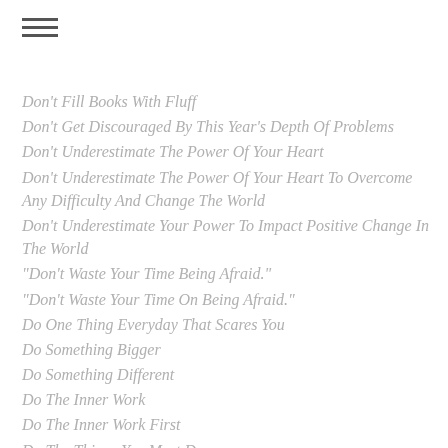menu icon (hamburger)
Don't Fill Books With Fluff
Don't Get Discouraged By This Year's Depth Of Problems
Don't Underestimate The Power Of Your Heart
Don't Underestimate The Power Of Your Heart To Overcome Any Difficulty And Change The World
Don't Underestimate Your Power To Impact Positive Change In The World
"Don't Waste Your Time Being Afraid."
"Don't Waste Your Time On Being Afraid."
Do One Thing Everyday That Scares You
Do Something Bigger
Do Something Different
Do The Inner Work
Do The Inner Work First
Do The Things You Must Do
Doubt
Doubt And Fear
Doubting Myself